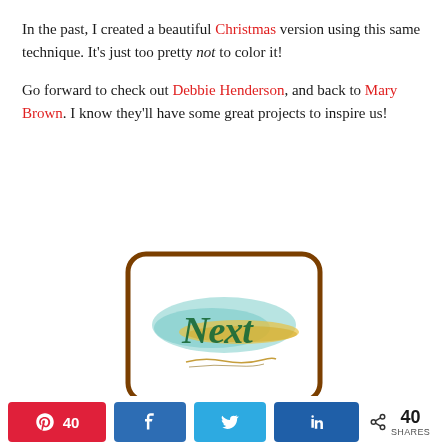In the past, I created a beautiful Christmas version using this same technique. It's just too pretty not to color it!

Go forward to check out Debbie Henderson, and back to Mary Brown. I know they'll have some great projects to inspire us!
[Figure (illustration): A rounded rectangle button with a brown border containing a watercolor-style 'Next' logo in teal/gold script on a white background, with a signature line below.]
[Figure (illustration): Partial view of a second rounded rectangle button with a brown border, similar style to the Next button above.]
40  SHARES (social share bar with Pinterest 40, Facebook share, Twitter share, LinkedIn share)